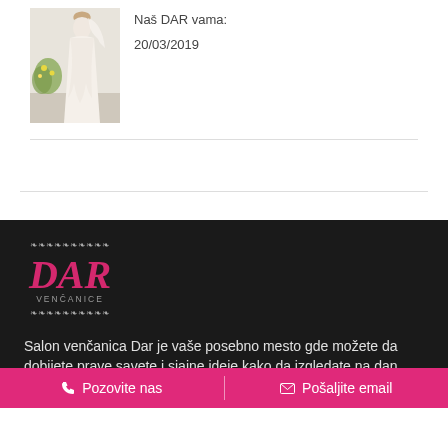[Figure (photo): Photo of a woman in a white wedding dress]
Naš DAR vama:
20/03/2019
[Figure (logo): DAR Venčanice logo with decorative ornament, pink serif DAR text and grey VENČANICE text]
Salon venčanica Dar je vaše posebno mesto gde možete da dobijete prave savete i sjajne ideje kako da izgledate na dan
Pozovite nas
Pošaljite email